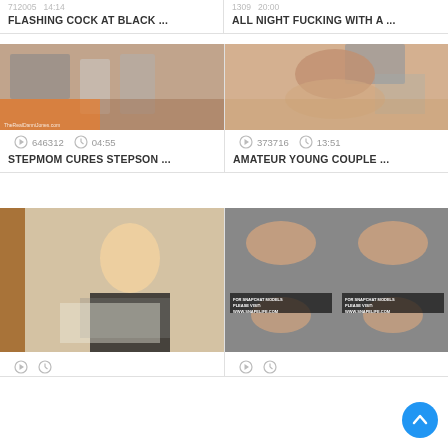FLASHING COCK AT BLACK ...
ALL NIGHT FUCKING WITH A ...
[Figure (photo): Video thumbnail showing bedroom scene]
646312  04:55
STEPMOM CURES STEPSON ...
[Figure (photo): Video thumbnail showing young woman]
373716  13:51
AMATEUR YOUNG COUPLE ...
[Figure (photo): Video thumbnail showing blonde woman]
[Figure (photo): Video thumbnail showing two panel image]